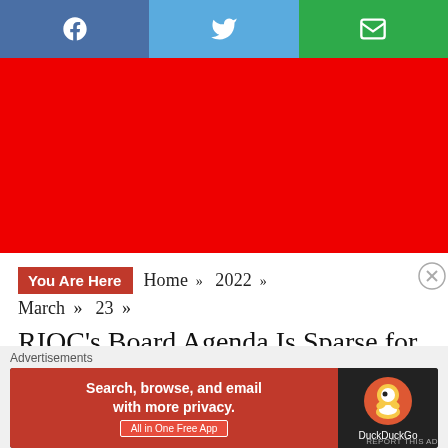[Figure (other): Social sharing bar with Facebook, Twitter, and email buttons]
[Figure (other): Large red banner advertisement area]
You Are Here  Home »  2022 »  March »  23 »
RIOC's Board Agenda Is Sparse for
[Figure (other): DuckDuckGo advertisement banner: Search, browse, and email with more privacy. All in One Free App]